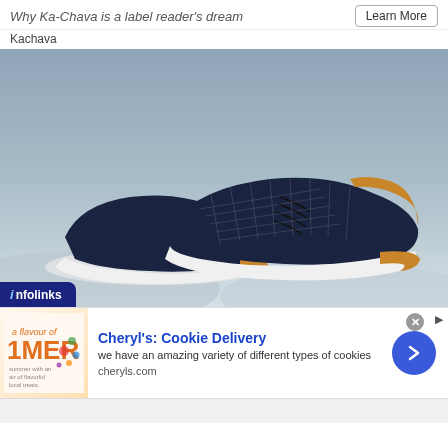Why Ka-Chava is a label reader's dream
Kachava
[Figure (photo): Two navy blue knit sneakers with tan/brown accents and white soles displayed on a sandy blue-gray background. Infolinks badge in bottom left corner.]
Cheryl's: Cookie Delivery
we have an amazing variety of different types of cookies
cheryls.com